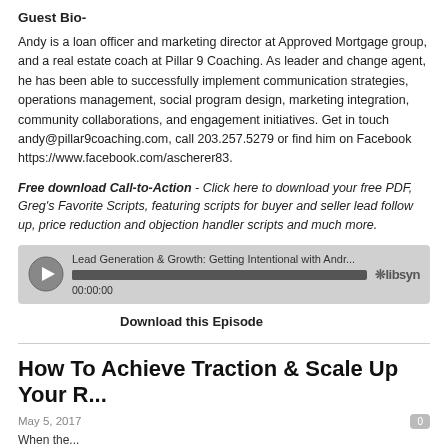Guest Bio-
Andy is a loan officer and marketing director at Approved Mortgage group, and a real estate coach at Pillar 9 Coaching. As leader and change agent, he has been able to successfully implement communication strategies, operations management, social program design, marketing integration, community collaborations, and engagement initiatives. Get in touch andy@pillar9coaching.com, call 203.257.5279 or find him on Facebook https://www.facebook.com/ascherer83.
Free download Call-to-Action - Click here to download your free PDF, Greg's Favorite Scripts, featuring scripts for buyer and seller lead follow up, price reduction and objection handler scripts and much more.
[Figure (other): Audio player widget showing episode: Lead Generation & Growth: Getting Intentional with Andr... with progress bar at start (00:00:00), libsyn branding]
Download this Episode
How To Achieve Traction & Scale Up Your R...
May 5, 2017
When the...